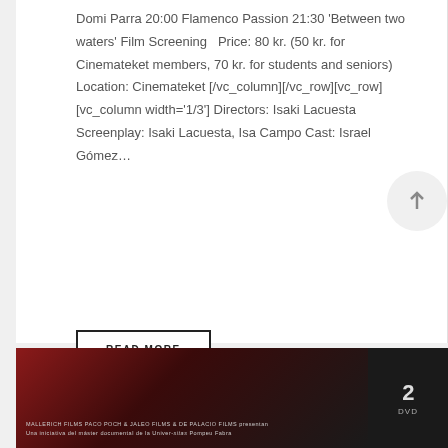Domi Parra 20:00 Flamenco Passion 21:30 'Between two waters' Film Screening  Price: 80 kr. (50 kr. for Cinemateket members, 70 kr. for students and seniors) Location: Cinemateket [/vc_column][/vc_row][vc_row][vc_column width='1/3'] Directors: Isaki Lacuesta Screenplay: Isaki Lacuesta, Isa Campo Cast: Israel Gómez…
READ MORE
[Figure (other): Bottom banner image with dark red/black gradient background. Contains small text reading 'MALLERICH FILMS PACO POCH & JALEO FILMS & DE PALACIO FILMS presentan Una iniciativa del máster documental de la Univer-sitas Pompeu Fabra' on the left, and a '2 DVD' badge on the right.]